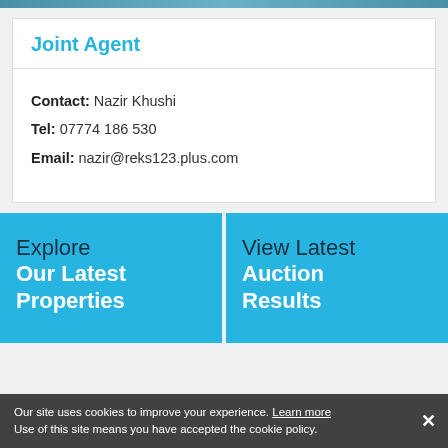[Figure (photo): Top image strip, partially cropped property/building photo]
Joint Agent
Contact: Nazir Khushi
Tel: 07774 186 530
Email: nazir@reks123.plus.com
Explore Our Latest Properties
View Latest Auction Results
Our site uses cookies to improve your experience. Learn more
Use of this site means you have accepted the cookie policy.